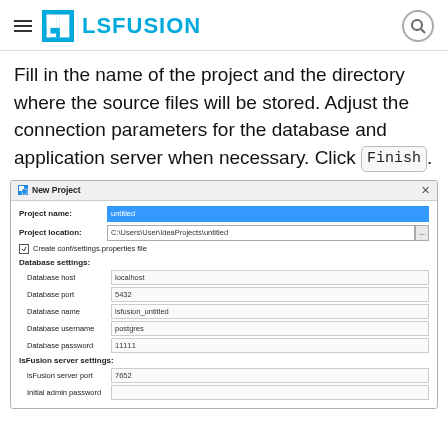LSFUSION
Fill in the name of the project and the directory where the source files will be stored. Adjust the connection parameters for the database and application server when necessary. Click Finish.
[Figure (screenshot): New Project dialog with fields: Project name (untitled, selected), Project location (C:\Users\User\IdeaProjects\untitled), Create conf/settings.properties file checkbox, Database settings section with Database host (localhost), Database port (5432), Database name (lsfusion_untitled), Database username (postgres), Database password (11111), lsFusion server settings section with lsFusion server port (7652), Initial admin password (empty).]